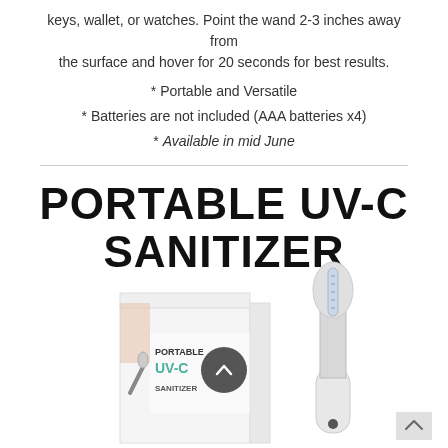keys, wallet, or watches. Point the wand 2-3 inches away from the surface and hover for 20 seconds for best results.
* Portable and Versatile
* Batteries are not included (AAA batteries x4)
* Available in mid June
PORTABLE UV-C SANITIZER
[Figure (photo): Product photo showing a white Portable UV-C Sanitizer wand device and its retail box packaging. The box is white with teal/green 'PORTABLE UV-C SANITIZER' text. A circular scroll-up button overlay is visible, and a small navigation arrow is in the bottom right corner.]